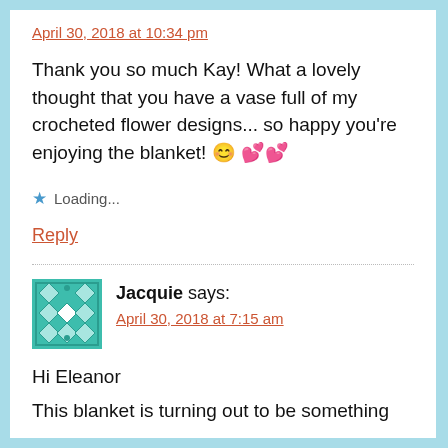April 30, 2018 at 10:34 pm
Thank you so much Kay! What a lovely thought that you have a vase full of my crocheted flower designs... so happy you're enjoying the blanket! 😊 💕 💕
★ Loading...
Reply
Jacquie says:
April 30, 2018 at 7:15 am
Hi Eleanor
This blanket is turning out to be something